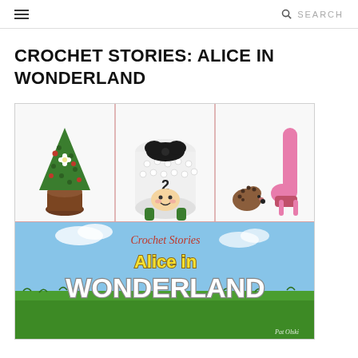≡   🔍 SEARCH
CROCHET STORIES: ALICE IN WONDERLAND
[Figure (photo): Book cover collage for 'Crochet Stories: Alice in Wonderland' by Pat Olski. Top half shows three panels of crocheted amigurumi figures: a green Christmas-tree shaped topiary in a brown pot, a white cylindrical figure with a face marked '2', and a pink flamingo with a hedgehog. Bottom half shows the book cover with sky and grass background, title 'Crochet Stories Alice in WONDERLAND' and author name Pat Olski.]